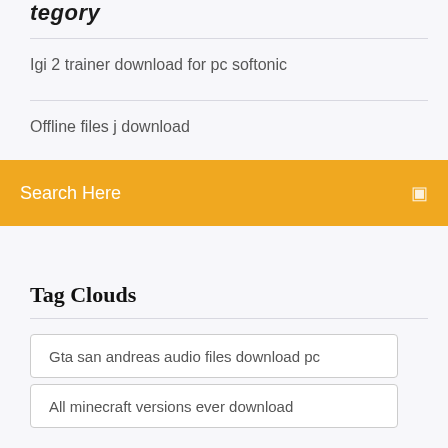Category
Igi 2 trainer download for pc softonic
Offline files j download
Search Here
Tag Clouds
Gta san andreas audio files download pc
All minecraft versions ever download